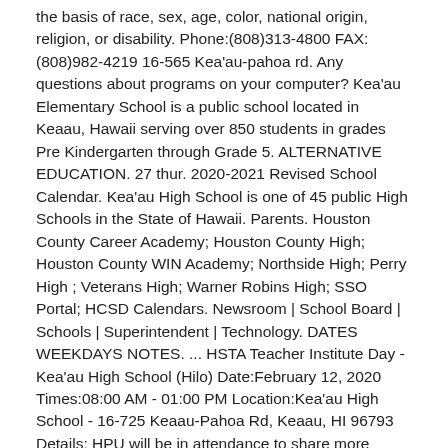the basis of race, sex, age, color, national origin, religion, or disability. Phone:(808)313-4800 FAX:(808)982-4219 16-565 Kea'au-pahoa rd. Any questions about programs on your computer? Kea'au Elementary School is a public school located in Keaau, Hawaii serving over 850 students in grades Pre Kindergarten through Grade 5. ALTERNATIVE EDUCATION. 27 thur. 2020-2021 Revised School Calendar. Kea'au High School is one of 45 public High Schools in the State of Hawaii. Parents. Houston County Career Academy; Houston County High; Houston County WIN Academy; Northside High; Perry High ; Veterans High; Warner Robins High; SSO Portal; HCSD Calendars. Newsroom | School Board | Schools | Superintendent | Technology. DATES WEEKDAYS NOTES. ... HSTA Teacher Institute Day - Kea'au High School (Hilo) Date:February 12, 2020 Times:08:00 AM - 01:00 PM Location:Kea'au High School - 16-725 Keaau-Pahoa Rd, Keaau, HI 96793 Details: HPU will be in attendance to share more information about our tuition discount for HSTA members. SWIMMING Chris Ho TENNIS Jim Brawner TRACK & FIELD Victoria Chai-Guerpo ... 2020-21 SCHOOL YEAR CALENDAR – Revised 7-7-2020 3 Independence Day Observed (Systemwide Holiday) 23 Administrative Staff 3 ... May 24-26 Early Release for High School Exams; May 26 Last Day of School [Day 175];May 27-28 Teacher Post-planning 31 Memorial Day (Systemwide Holiday) Au...